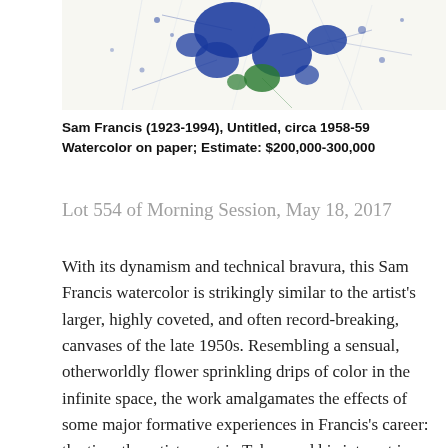[Figure (photo): Partial view of Sam Francis watercolor artwork showing blue paint splatters and green accents on white paper background]
Sam Francis (1923-1994), Untitled, circa 1958-59 Watercolor on paper; Estimate: $200,000-300,000
Lot 554 of Morning Session, May 18, 2017
With its dynamism and technical bravura, this Sam Francis watercolor is strikingly similar to the artist's larger, highly coveted, and often record-breaking, canvases of the late 1950s. Resembling a sensual, otherworldly flower sprinkling drips of color in the infinite space, the work amalgamates the effects of some major formative experiences in Francis's career: the time the artist spent in Tokyo and his interest in Japanese calligraphy, his fascination with